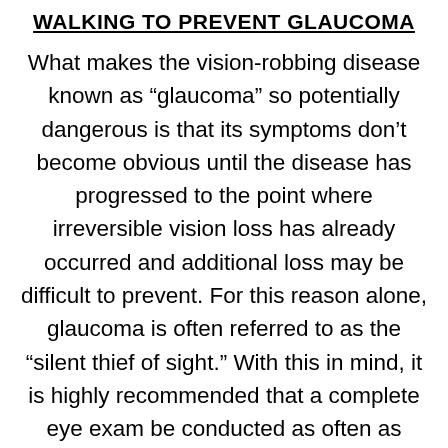WALKING TO PREVENT GLAUCOMA
What makes the vision-robbing disease known as “glaucoma” so potentially dangerous is that its symptoms don’t become obvious until the disease has progressed to the point where irreversible vision loss has already occurred and additional loss may be difficult to prevent. For this reason alone, glaucoma is often referred to as the “silent thief of sight.” With this in mind, it is highly recommended that a complete eye exam be conducted as often as necessary. In the meantime, research